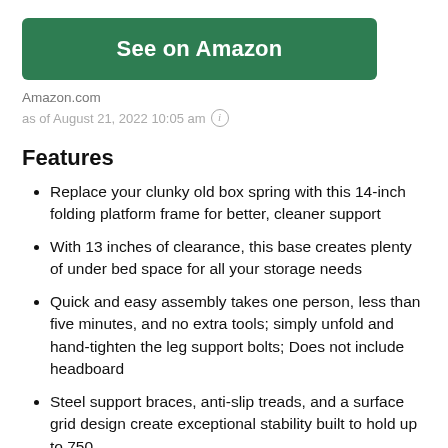[Figure (other): Green 'See on Amazon' button]
Amazon.com
as of August 21, 2022 10:05 am ⓘ
Features
Replace your clunky old box spring with this 14-inch folding platform frame for better, cleaner support
With 13 inches of clearance, this base creates plenty of under bed space for all your storage needs
Quick and easy assembly takes one person, less than five minutes, and no extra tools; simply unfold and hand-tighten the leg support bolts; Does not include headboard
Steel support braces, anti-slip treads, and a surface grid design create exceptional stability built to hold up to 750